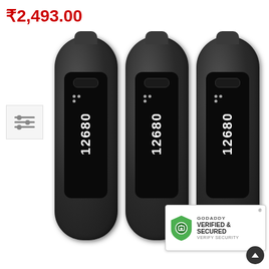₹2,493.00
[Figure (photo): Three black Fitbit One fitness tracker devices shown side by side, each displaying '12680' steps on their screens. A GoDaddy Verified & Secured security badge appears in the lower right corner.]